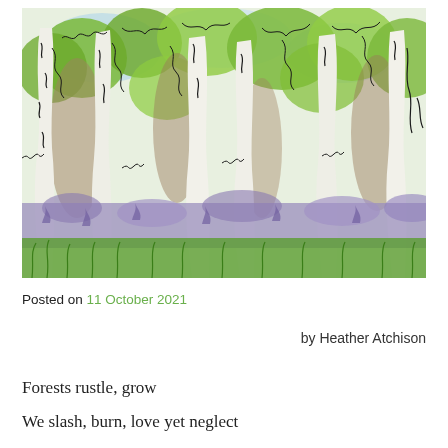[Figure (illustration): Hand-drawn style illustration of a birch forest with white tree trunks, dark curly line details, green leaves, lavender/purple bluebells on the ground, green grass, and a light blue sky background.]
Posted on 11 October 2021
by Heather Atchison
Forests rustle, grow
We slash, burn, love yet neglect